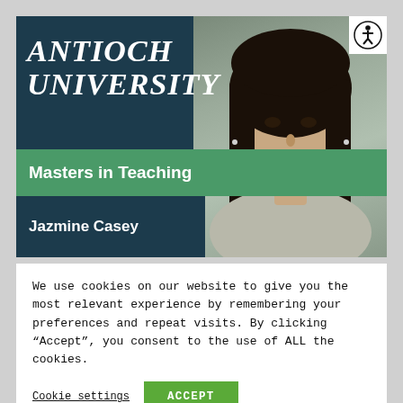[Figure (photo): Antioch University promotional banner showing a young woman with dark hair wearing a grey sweater against a dark teal background. The banner includes the Antioch University logo in italic serif font, a green band reading 'Masters in Teaching', and the name 'Jazmine Casey'. An accessibility icon (person in circle) appears in the top right corner.]
We use cookies on our website to give you the most relevant experience by remembering your preferences and repeat visits. By clicking "Accept", you consent to the use of ALL the cookies.
Cookie settings
ACCEPT